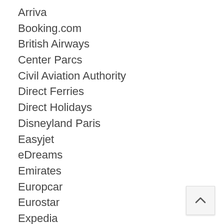Arriva
Booking.com
British Airways
Center Parcs
Civil Aviation Authority
Direct Ferries
Direct Holidays
Disneyland Paris
Easyjet
eDreams
Emirates
Europcar
Eurostar
Expedia
First Bus
Flight Centre
Flybe
Holiday Hypermarket